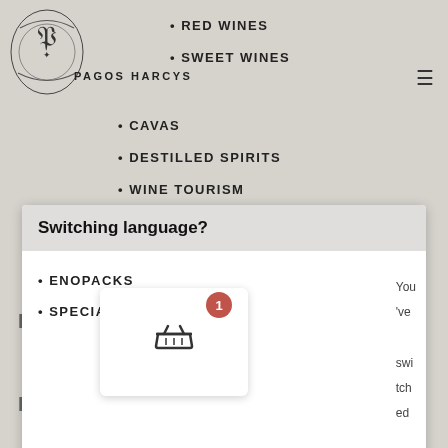[Figure (logo): Decorative logo with ornate figure for Pagos Harcys winery]
PAGOS HARCYS
RED WINES
SWEET WINES
CAVAS
DESTILLED SPIRITS
WINE TOURISM
Switching language?
ENOPACKS
SPECIAL PACKS
You 've swi tch ed the lan gu age
HO
HOTEL